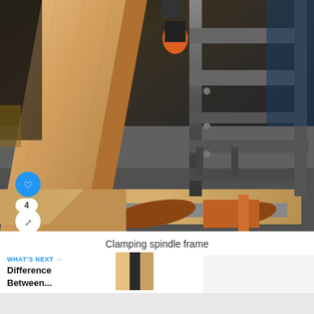[Figure (photo): A wooden spindle frame being clamped with metal clamps and an orange bar clamp on a workbench. The frame corner joint is visible with industrial metal clamping jig holding the wood pieces at right angles.]
Clamping spindle frame
WHAT'S NEXT → Difference Between...